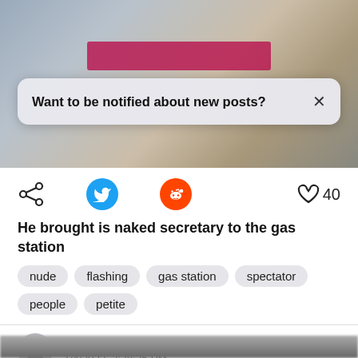[Figure (screenshot): Blurred photo background with pink bar overlay and notification popup saying 'Want to be notified about new posts? X']
Want to be notified about new posts? ×
[Figure (infographic): Social sharing icons: share, Twitter (blue bird), Reddit (orange alien), and heart with count 40]
He brought is naked secretary to the gas station
nude
flashing
gas station
spectator
people
petite
Unknown
1/4/2022, 3:38:35 PM